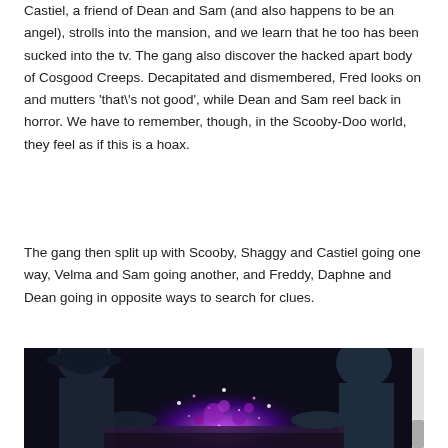Castiel, a friend of Dean and Sam (and also happens to be an angel), strolls into the mansion, and we learn that he too has been sucked into the tv. The gang also discover the hacked apart body of Cosgood Creeps. Decapitated and dismembered, Fred looks on and mutters 'that\'s not good', while Dean and Sam reel back in horror. We have to remember, though, in the Scooby-Doo world, they feel as if this is a hoax.
The gang then split up with Scooby, Shaggy and Castiel going one way, Velma and Sam going another, and Freddy, Daphne and Dean going in opposite ways to search for clues.
[Figure (illustration): Dark animated scene showing characters looking at a glowing purple magical effect on a table, with dark silhouettes of characters on either side]